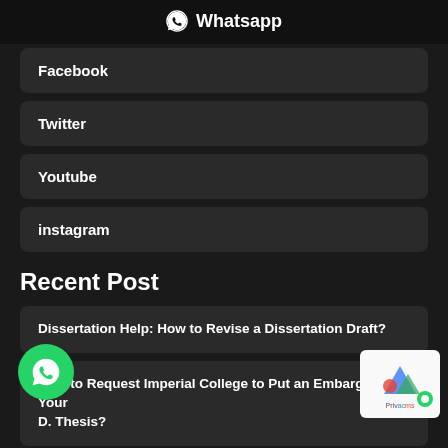⊙ Whatsapp
Facebook
Twitter
Youtube
instagram
Recent Post
Dissertation Help: How to Revise a Dissertation Draft?
How to Request Imperial College to Put an Embargo on Your D. Thesis?
mbridge's Thesis Word Limit for Different Degree Programs